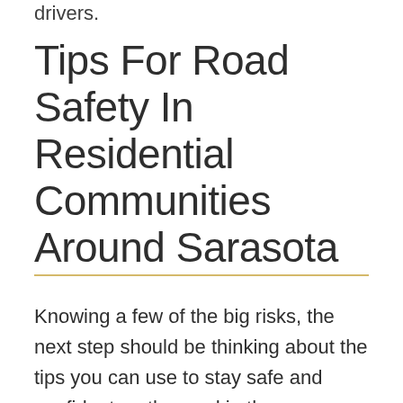drivers.
Tips For Road Safety In Residential Communities Around Sarasota
Knowing a few of the big risks, the next step should be thinking about the tips you can use to stay safe and confident on the road in these growing